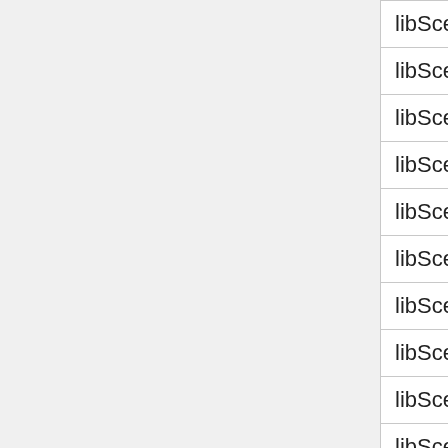| Library |  |
| --- | --- |
| libSceAjm | ● |
| libScePad |  |
| libSceDbg |  |
| libSceNetCtl |  |
| libSceHttp | ● |
| libSceSsl |  |
| libSceNpCommon | ● |
| libSceNpManager |  |
| libSceNpWebApi | ● |
| libSceSaveData | ● |
| libSceSystemService |  |
| libSceUserService |  |
| libSceCommonDialog | ● |
| libSceSysUtil |  |
| libScePerf |  |
| libSceCamera | ● |